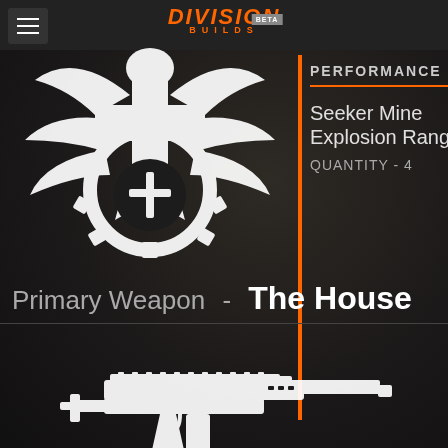DIVISION BUILDS BETA
PERFORMANCE MOD
Seeker Mine Explosion Range
QUANTITY - 4
Primary Weapon  -  The House
[Figure (illustration): The Division game logo icon — white eagle/phoenix emblem on dark background]
[Figure (illustration): White icon silhouette of a submachine gun (The House) on dark background]